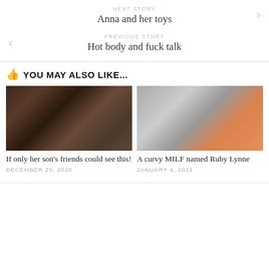NEXT STORY
Anna and her toys
PREVIOUS STORY
Hot body and fuck talk
YOU MAY ALSO LIKE...
[Figure (photo): Woman in black lingerie posing on a bed]
[Figure (photo): Woman in orange top standing near window blinds]
If only her son's friends could see this!
DECEMBER 29, 2020
A curvy MILF named Ruby Lynne
JANUARY 4, 2022